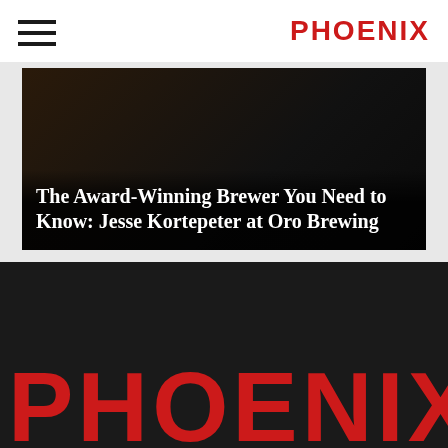PHOENIX
[Figure (photo): Dark background article image with white overlay text: 'The Award-Winning Brewer You Need to Know: Jesse Kortepeter at Oro Brewing']
The Award-Winning Brewer You Need to Know: Jesse Kortepeter at Oro Brewing
PHOENIX